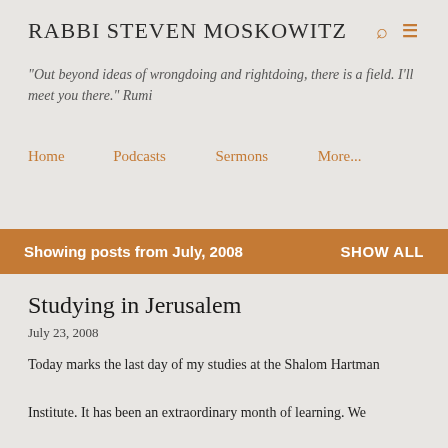RABBI STEVEN MOSKOWITZ
"Out beyond ideas of wrongdoing and rightdoing, there is a field. I'll meet you there." Rumi
Home
Podcasts
Sermons
More...
Showing posts from July, 2008   SHOW ALL
Studying in Jerusalem
July 23, 2008
Today marks the last day of my studies at the Shalom Hartman Institute. It has been an extraordinary month of learning. We